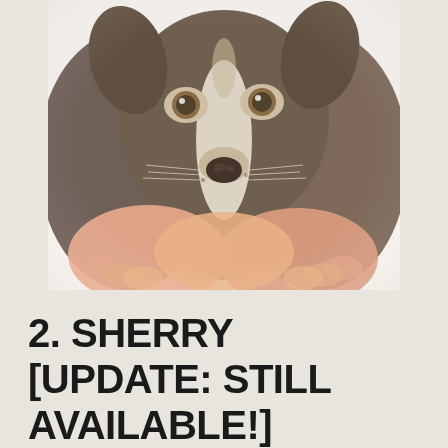[Figure (photo): Close-up photo of a puppy (mixed breed, dark brown/brindle coloring with white markings on face) being held by human hands. The puppy is looking directly at the camera with big brown eyes. The background is white/light. The image has a slightly washed-out, high-key photographic style.]
2. SHERRY [UPDATE: STILL AVAILABLE!]